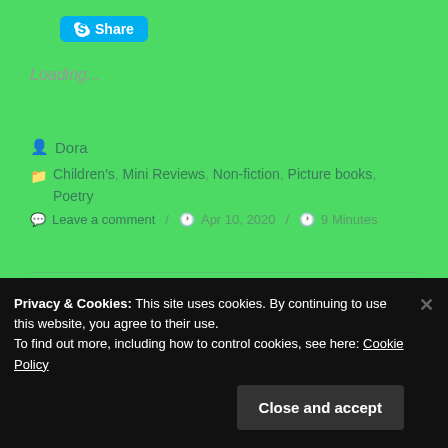[Figure (other): Skype Share button with blue background and Skype logo icon]
Loading...
Dora
Children's, Mini Reviews, Non-fiction, Picture books, Poetry
Leave a comment  /  Apr 10, 2020  /  9 Minutes
Privacy & Cookies: This site uses cookies. By continuing to use this website, you agree to their use. To find out more, including how to control cookies, see here: Cookie Policy
Close and accept